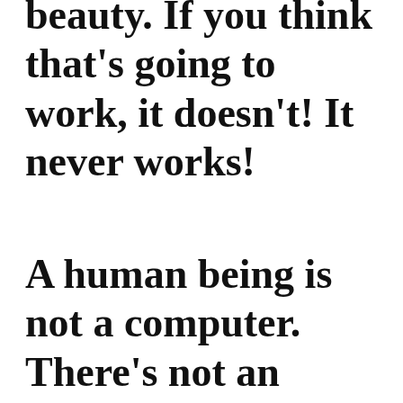beauty. If you think that's going to work, it doesn't! It never works!
A human being is not a computer. There's not an entrance sequence